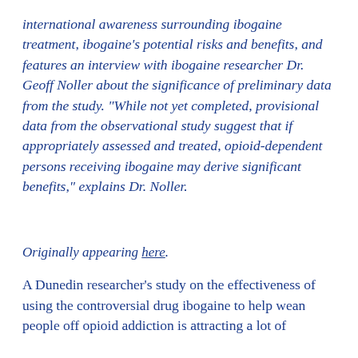international awareness surrounding ibogaine treatment, ibogaine's potential risks and benefits, and features an interview with ibogaine researcher Dr. Geoff Noller about the significance of preliminary data from the study. "While not yet completed, provisional data from the observational study suggest that if appropriately assessed and treated, opioid-dependent persons receiving ibogaine may derive significant benefits," explains Dr. Noller.
Originally appearing here.
A Dunedin researcher's study on the effectiveness of using the controversial drug ibogaine to help wean people off opioid addiction is attracting a lot of